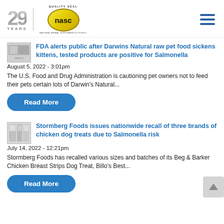[Figure (logo): NASC 20 Years Quality Seal logo with hamburger menu icon]
FDA alerts public after Darwins Natural raw pet food sickens kittens, tested products are positive for Salmonella
August 5, 2022 - 3:01pm
The U.S. Food and Drug Administration is cautioning pet owners not to feed their pets certain lots of Darwin's Natural...
Read More
Stormberg Foods issues nationwide recall of three brands of chicken dog treats due to Salmonella risk
July 14, 2022 - 12:21pm
Stormberg Foods has recalled various sizes and batches of its Beg & Barker Chicken Breast Strips Dog Treat, Billo's Best...
Read More